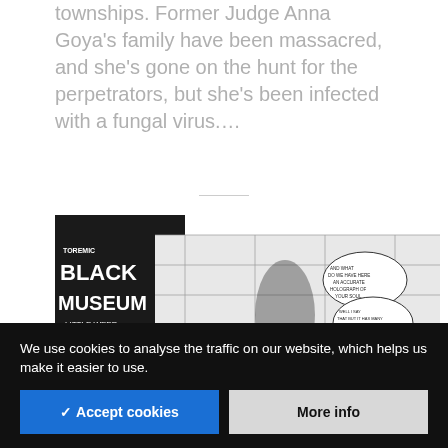townships. Former Judge Anna Goya's family have been massacred, and she's gone on the hunt for the perpetrators, but she's been infected with a fungal virus....
[Figure (illustration): Black and white comic book cover/page for 'Toxic Tonic Black Museum: Little Weed' showing a superhero figure against a geometric architectural background with speech bubbles]
We use cookies to analyse the traffic on our website, which helps us make it easier to use.
✓ Accept cookies
More info